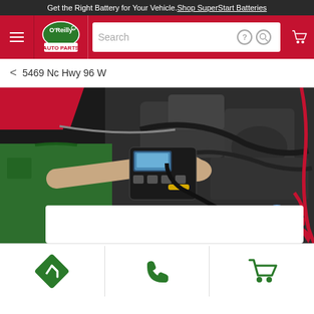Get the Right Battery for Your Vehicle. Shop SuperStart Batteries
[Figure (logo): O'Reilly Auto Parts logo with navigation bar including hamburger menu, search bar, help icon, search icon, and cart icon]
< 5469 Nc Hwy 96 W
[Figure (photo): Auto mechanic in green uniform using a diagnostic device on a car engine under the hood]
[Figure (infographic): Three bottom action icons: directions (green diamond with arrow), phone (green phone icon), and shopping cart (green cart icon)]